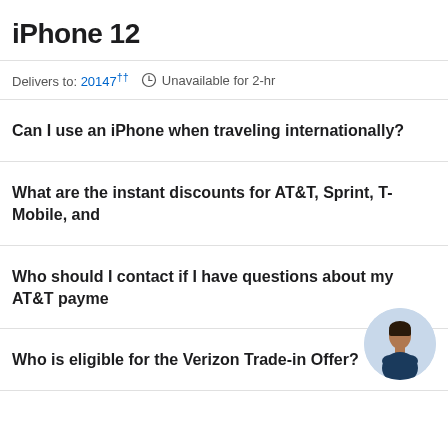iPhone 12
Delivers to: 20147†† Unavailable for 2-hr
Can I use an iPhone when traveling internationally?
What are the instant discounts for AT&T, Sprint, T-Mobile, and
Who should I contact if I have questions about my AT&T payme
Who is eligible for the Verizon Trade-in Offer?